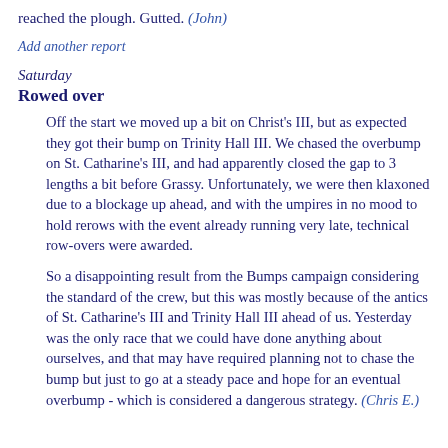reached the plough. Gutted. (John)
Add another report
Saturday
Rowed over
Off the start we moved up a bit on Christ's III, but as expected they got their bump on Trinity Hall III. We chased the overbump on St. Catharine's III, and had apparently closed the gap to 3 lengths a bit before Grassy. Unfortunately, we were then klaxoned due to a blockage up ahead, and with the umpires in no mood to hold rerows with the event already running very late, technical row-overs were awarded.
So a disappointing result from the Bumps campaign considering the standard of the crew, but this was mostly because of the antics of St. Catharine's III and Trinity Hall III ahead of us. Yesterday was the only race that we could have done anything about ourselves, and that may have required planning not to chase the bump but just to go at a steady pace and hope for an eventual overbump - which is considered a dangerous strategy. (Chris E.)